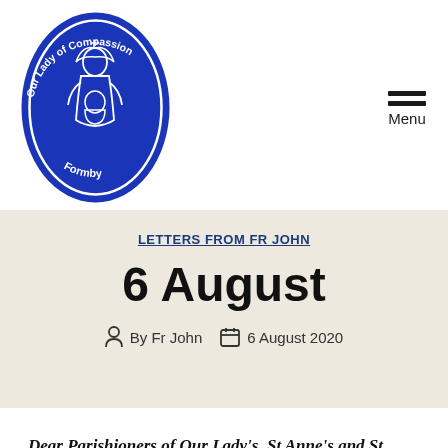[Figure (logo): Our Lady of Compassion Formby parish logo — blue oval with white line-art of Mary holding the infant Jesus, text around the border reading 'Our Lady of Compassion' at top and 'Formby' at bottom.]
LETTERS FROM FR JOHN
6 August
By Fr John  6 August 2020
Dear Parishioners of Our Lady's, St Anne's and St